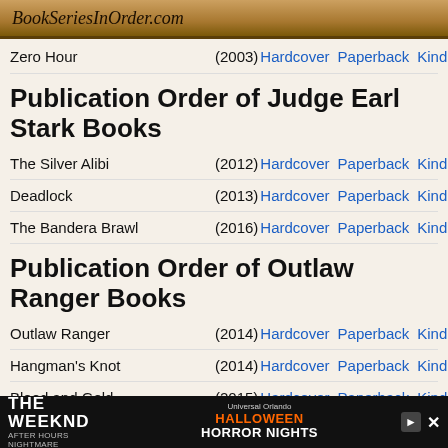BookSeriesInOrder.com
Zero Hour (2003) Hardcover Paperback Kindle
Publication Order of Judge Earl Stark Books
The Silver Alibi (2012) Hardcover Paperback Kindle
Deadlock (2013) Hardcover Paperback Kindle
The Bandera Brawl (2016) Hardcover Paperback Kindle
Publication Order of Outlaw Ranger Books
Outlaw Ranger (2014) Hardcover Paperback Kindle
Hangman's Knot (2014) Hardcover Paperback Kindle
Blood and Gold (2015) Hardcover Paperback Kindle
The Last War Chief (2015) Hardcover Paperback Kindle
Gun Devils of the Rio Grande (2016) Hardcover Paperback Kindle
[Figure (screenshot): Advertisement banner for The Weeknd After Hours Nightmare at Universal Orlando Halloween Horror Nights]